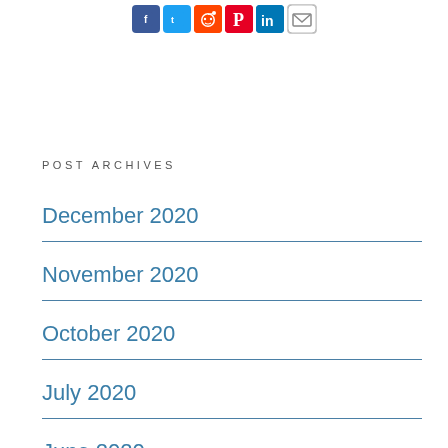[Figure (other): Social media share icons: Facebook, Twitter, Reddit, Pinterest, LinkedIn, Email]
Post Archives
December 2020
November 2020
October 2020
July 2020
June 2020
May 2020